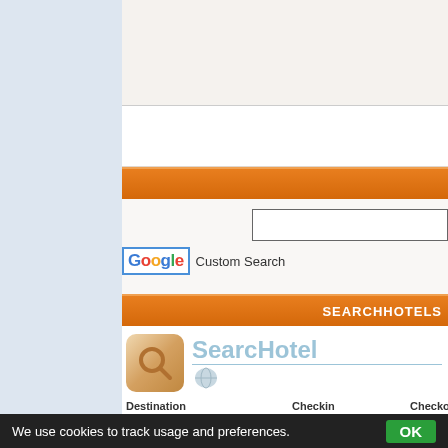[Figure (screenshot): Left navigation panel with light blue background]
[Figure (screenshot): Orange header bar (gradient, first)]
[Figure (screenshot): Google Custom Search widget with search input and Google logo]
SEARCHHOTELS
[Figure (screenshot): SearcHotel logo with magnifying glass icon]
| Destination | Checkin | Checkout |
| --- | --- | --- |
| east cathlamet | 21  Aug '22 | 22 |
We use cookies to track usage and preferences.  OK